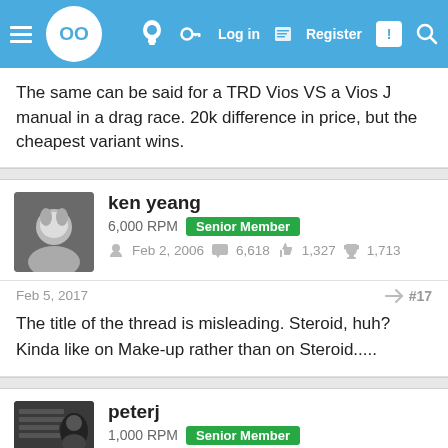Navigation bar with logo, lightbulb icon, key icon, Log in, Register, notification, search
The same can be said for a TRD Vios VS a Vios J manual in a drag race. 20k difference in price, but the cheapest variant wins.
ken yeang
6,000 RPM  Senior Member
Feb 2, 2006  6,618  1,327  1,713
Feb 5, 2017  #17
The title of the thread is misleading. Steroid, huh?
Kinda like on Make-up rather than on Steroid.....
peterj
1,000 RPM  Senior Member
Apr 27, 2010  1,321  258  1,683
Kuching